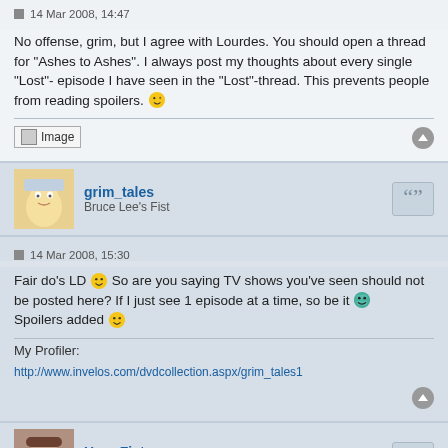14 Mar 2008, 14:47
No offense, grim, but I agree with Lourdes. You should open a thread for "Ashes to Ashes". I always post my thoughts about every single "Lost"-episode I have seen in the "Lost"-thread. This prevents people from reading spoilers. 😉
[Figure (other): Image placeholder (broken image icon with alt text 'Image')]
grim_tales
Bruce Lee's Fist
14 Mar 2008, 15:30
Fair do's LD 🙂 So are you saying TV shows you've seen should not be posted here? If I just see 1 episode at a time, so be it 😁
Spoilers added 🙂
My Profiler:
http://www.invelos.com/dvdcollection.aspx/grim_tales1
HungFist
Bruce Lee's Fist